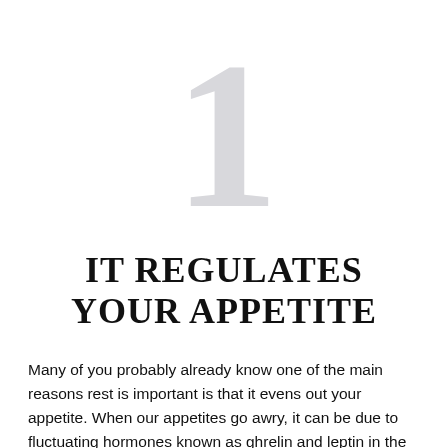[Figure (other): Large decorative numeral '1' in light gray as a chapter number graphic]
IT REGULATES YOUR APPETITE
Many of you probably already know one of the main reasons rest is important is that it evens out your appetite. When our appetites go awry, it can be due to fluctuating hormones known as ghrelin and leptin in the body, that tell us when we're full